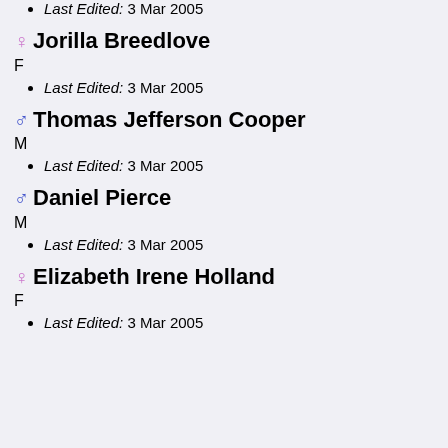Last Edited: 3 Mar 2005
♀ Jorilla Breedlove
F
Last Edited: 3 Mar 2005
♂ Thomas Jefferson Cooper
M
Last Edited: 3 Mar 2005
♂ Daniel Pierce
M
Last Edited: 3 Mar 2005
♀ Elizabeth Irene Holland
F
Last Edited: 3 Mar 2005